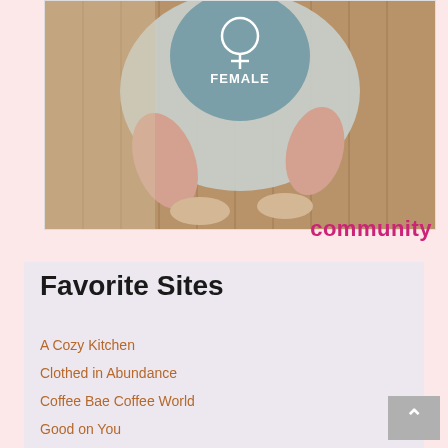[Figure (photo): Top-down view of a person wearing a denim hat with a female symbol (Venus symbol) and the word FEMALE printed on it, sitting on a wooden floor]
community
Favorite Sites
A Cozy Kitchen
Clothed in Abundance
Coffee Bae Coffee World
Good on You
Kinfolk